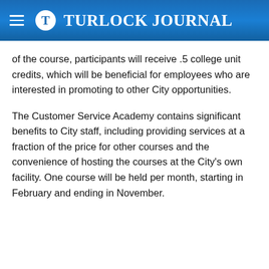Turlock Journal
of the course, participants will receive .5 college unit credits, which will be beneficial for employees who are interested in promoting to other City opportunities.
The Customer Service Academy contains significant benefits to City staff, including providing services at a fraction of the price for other courses and the convenience of hosting the courses at the City's own facility. One course will be held per month, starting in February and ending in November.